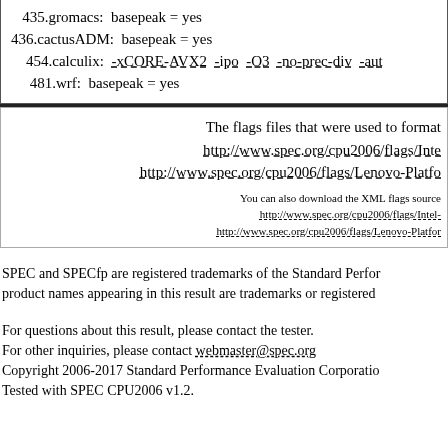435.gromacs:  basepeak = yes
436.cactusADM:  basepeak = yes
454.calculix:  -xCORE-AVX2  -ipo  -O3  -no-prec-div  -aut…
481.wrf:  basepeak = yes
The flags files that were used to format this result can be found at:
http://www.spec.org/cpu2006/flags/Inte…
http://www.spec.org/cpu2006/flags/Lenovo-Platfo…
You can also download the XML flags source…
http://www.spec.org/cpu2006/flags/Intel-…
http://www.spec.org/cpu2006/flags/Lenovo-Platfor…
SPEC and SPECfp are registered trademarks of the Standard Perfo…
product names appearing in this result are trademarks or registered…
For questions about this result, please contact the tester.
For other inquiries, please contact webmaster@spec.org
Copyright 2006-2017 Standard Performance Evaluation Corporatio…
Tested with SPEC CPU2006 v1.2.